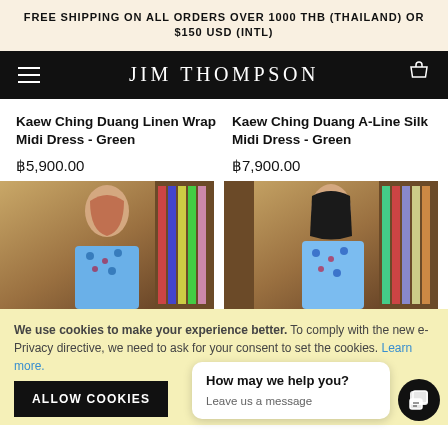FREE SHIPPING ON ALL ORDERS OVER 1000 THB (THAILAND) OR $150 USD (INTL)
JIM THOMPSON
Kaew Ching Duang Linen Wrap Midi Dress - Green
฿5,900.00
Kaew Ching Duang A-Line Silk Midi Dress - Green
฿7,900.00
[Figure (photo): Model wearing blue patterned dress in library setting - left product]
[Figure (photo): Model wearing blue patterned dress in library setting - right product]
We use cookies to make your experience better. To comply with the new e-Privacy directive, we need to ask for your consent to set the cookies. Learn more.
ALLOW COOKIES
How may we help you?
Leave us a message